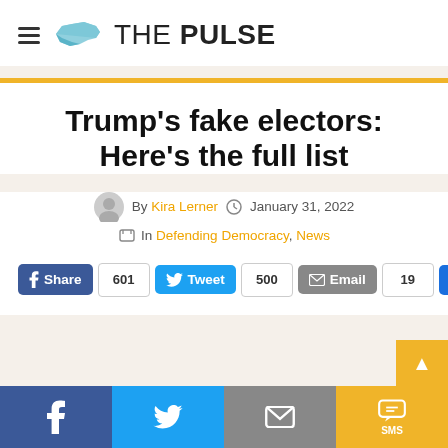THE PULSE
Trump’s fake electors: Here’s the full list
By Kira Lerner – January 31, 2022
In Defending Democracy, News
Share 601 | Tweet 500 | Email 19 | Like 250
Facebook | Twitter | Email | SMS